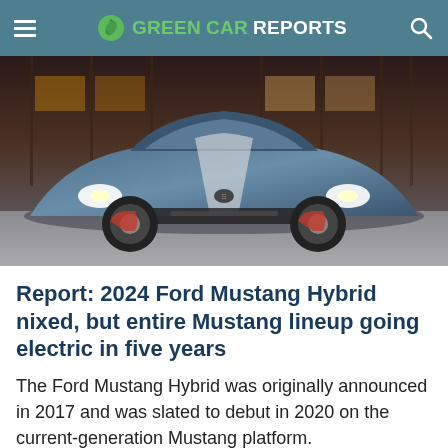GREEN CAR REPORTS
[Figure (photo): Blue Ford Mustang Shelby GT500 sports car parked in front of a building with large windows, front three-quarter view showing racing stripes and aggressive styling.]
Report: 2024 Ford Mustang Hybrid nixed, but entire Mustang lineup going electric in five years
The Ford Mustang Hybrid was originally announced in 2017 and was slated to debut in 2020 on the current-generation Mustang platform.